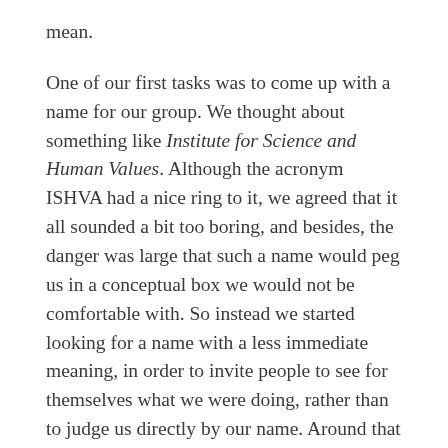mean.
One of our first tasks was to come up with a name for our group. We thought about something like Institute for Science and Human Values. Although the acronym ISHVA had a nice ring to it, we agreed that it all sounded a bit too boring, and besides, the danger was large that such a name would peg us in a conceptual box we would not be comfortable with. So instead we started looking for a name with a less immediate meaning, in order to invite people to see for themselves what we were doing, rather than to judge us directly by our name. Around that time I mentioned over a drink that my colleagues and were working on a computer program called the kira code, where the Japanese word 'kira' stood for the sound